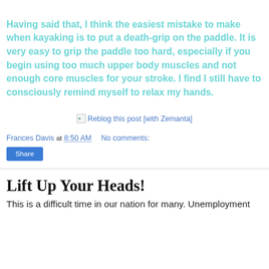Having said that, I think the easiest mistake to make when kayaking is to put a death-grip on the paddle. It is very easy to grip the paddle too hard, especially if you begin using too much upper body muscles and not enough core muscles for your stroke. I find I still have to consciously remind myself to relax my hands.
[Figure (other): Broken image placeholder with text: Reblog this post [with Zemanta]]
Frances Davis at 8:50 AM   No comments:
Share
Lift Up Your Heads!
This is a difficult time in our nation for many. Unemployment